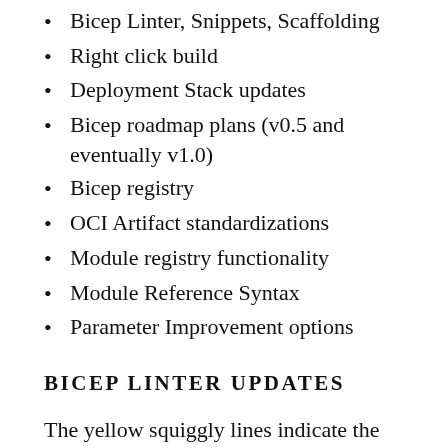Bicep Linter, Snippets, Scaffolding
Right click build
Deployment Stack updates
Bicep roadmap plans (v0.5 and eventually v1.0)
Bicep registry
OCI Artifact standardizations
Module registry functionality
Module Reference Syntax
Parameter Improvement options
BICEP LINTER UPDATES
The yellow squiggly lines indicate the Linter violations and complains where best practices are violated. Like,  password param should not be